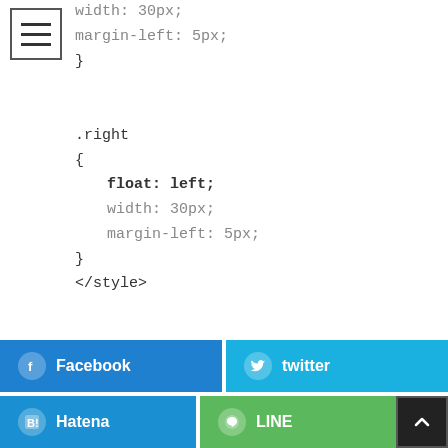[Figure (illustration): Hamburger menu icon (three horizontal lines in a square border)]
width: 30px;
margin-left: 5px;
}

.right
{
    float: left;
    width: 30px;
    margin-left: 5px;
}
</style>
[Figure (infographic): Social share buttons row 1: Facebook (blue) and twitter (light blue)]
[Figure (infographic): Social share buttons row 2: Hatena (blue) and LINE (green) with scroll-to-top button]